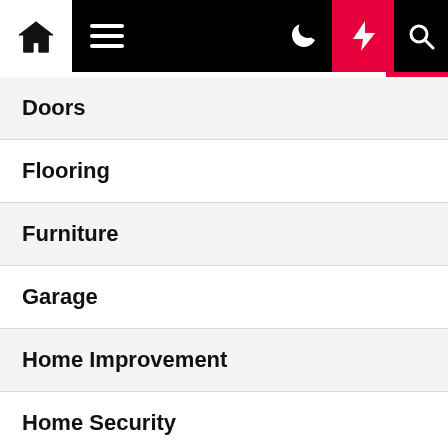Navigation bar with home icon, hamburger menu, moon/dark mode icon, bolt/trending icon, and search icon
Doors
Flooring
Furniture
Garage
Home Improvement
Home Security
Interior Design
Kitchen
Landscaping